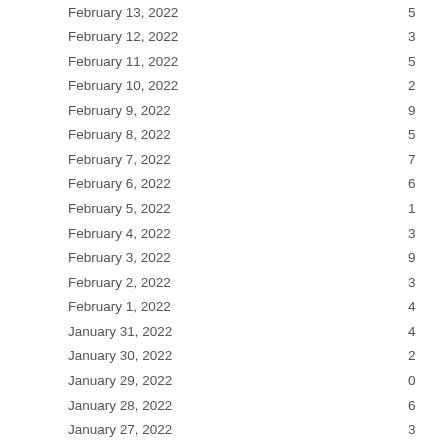| Date | Value |
| --- | --- |
| February 13, 2022 | 5 |
| February 12, 2022 | 3 |
| February 11, 2022 | 5 |
| February 10, 2022 | 2 |
| February 9, 2022 | 9 |
| February 8, 2022 | 5 |
| February 7, 2022 | 7 |
| February 6, 2022 | 6 |
| February 5, 2022 | 1 |
| February 4, 2022 | 3 |
| February 3, 2022 | 9 |
| February 2, 2022 | 3 |
| February 1, 2022 | 4 |
| January 31, 2022 | 4 |
| January 30, 2022 | 2 |
| January 29, 2022 | 0 |
| January 28, 2022 | 6 |
| January 27, 2022 | 3 |
| January 26, 2022 | 3 |
| January 25, 2022 | 2 |
| January 24, 2022 | 1 |
| January 23, 2022 | 2 |
| January 22, 2022 | 3 |
| January 21, 2022 |  |